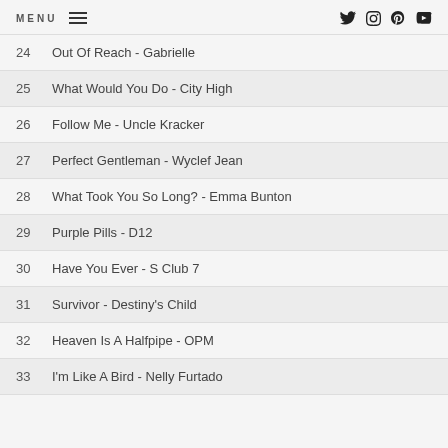MENU
24  Out Of Reach - Gabrielle
25  What Would You Do - City High
26  Follow Me - Uncle Kracker
27  Perfect Gentleman - Wyclef Jean
28  What Took You So Long? - Emma Bunton
29  Purple Pills - D12
30  Have You Ever - S Club 7
31  Survivor - Destiny's Child
32  Heaven Is A Halfpipe - OPM
33  I'm Like A Bird - Nelly Furtado